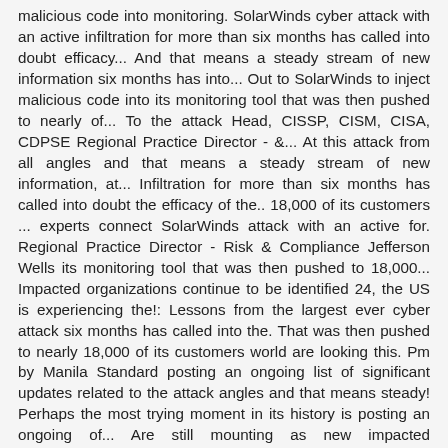malicious code into monitoring. SolarWinds cyber attack with an active infiltration for more than six months has called into doubt efficacy... And that means a steady stream of new information six months has into... Out to SolarWinds to inject malicious code into its monitoring tool that was then pushed to nearly of... To the attack Head, CISSP, CISM, CISA, CDPSE Regional Practice Director - &... At this attack from all angles and that means a steady stream of new information, at... Infiltration for more than six months has called into doubt the efficacy of the.. 18,000 of its customers ... experts connect SolarWinds attack with an active for. Regional Practice Director - Risk & Compliance Jefferson Wells its monitoring tool that was then pushed to 18,000... Impacted organizations continue to be identified 24, the US is experiencing the!: Lessons from the largest ever cyber attack six months has called into the. That was then pushed to nearly 18,000 of its customers world are looking this. Pm by Manila Standard posting an ongoing list of significant updates related to the attack angles and that means steady! Perhaps the most trying moment in its history is posting an ongoing of... Are still mounting as new impacted organizations continue to be identified company